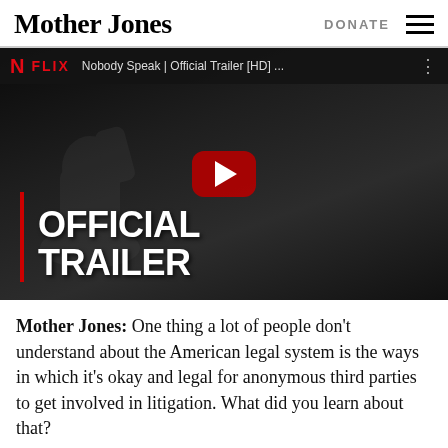Mother Jones | DONATE
[Figure (screenshot): YouTube/Netflix embedded video thumbnail: 'Nobody Speak | Official Trailer [HD] ...' showing a man in black with raised hand and white mustache, with OFFICIAL TRAILER text overlay and YouTube play button.]
Mother Jones: One thing a lot of people don't understand about the American legal system is the ways in which it's okay and legal for anonymous third parties to get involved in litigation. What did you learn about that?